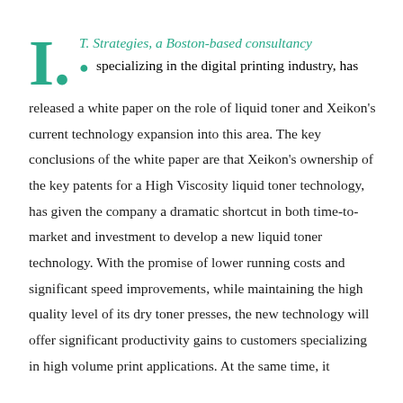I. T. Strategies, a Boston-based consultancy specializing in the digital printing industry, has released a white paper on the role of liquid toner and Xeikon's current technology expansion into this area. The key conclusions of the white paper are that Xeikon's ownership of the key patents for a High Viscosity liquid toner technology, has given the company a dramatic shortcut in both time-to-market and investment to develop a new liquid toner technology. With the promise of lower running costs and significant speed improvements, while maintaining the high quality level of its dry toner presses, the new technology will offer significant productivity gains to customers specializing in high volume print applications. At the same time, it